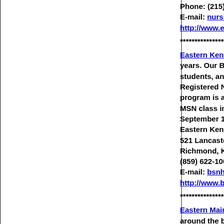Phone: (215) 784-
E-mail: nursing@
http://www.eastec
******************
Eastern Kentucky
years. Our Bache
students, an accel
Registered Nurse
program is accred
MSN class in 199
September 1999.
Eastern Kentucky
521 Lancaster Ave
Richmond, KY 40
(859) 622-1000
E-mail: bsnhogue
http://www.bsn-g
******************
Eastern Maine M
around the bacca
Eastern Maine M
Graduating f